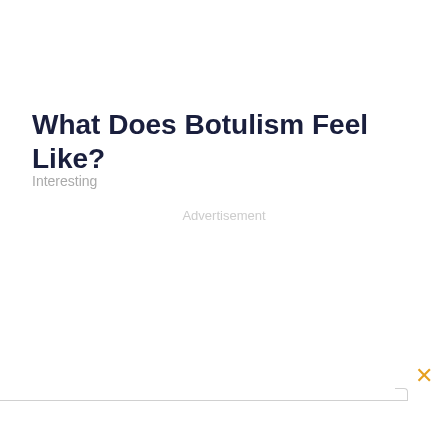What Does Botulism Feel Like?
Interesting
Advertisement